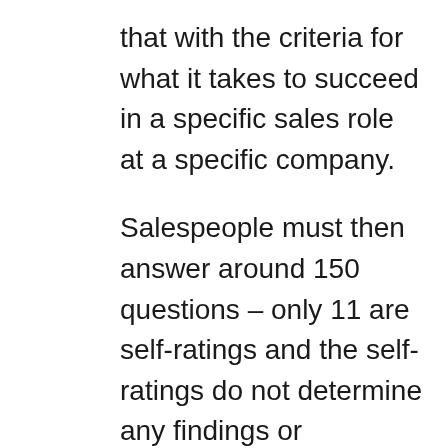that with the criteria for what it takes to succeed in a specific sales role at a specific company.
Salespeople must then answer around 150 questions – only 11 are self-ratings and the self-ratings do not determine any findings or outcomes – they only serve as comparisons of how they see themselves versus how we see them.
We look at their Sales Competencies – their capability for hunting, consultative selling, qualifying, presenting, closing, managing existing accounts, farming, and posturing – these are primarily skill based competencies; and we look inside their